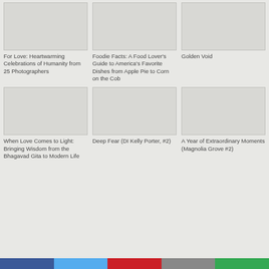[Figure (illustration): Book cover placeholder - top left]
For Love: Heartwarming Celebrations of Humanity from 25 Photographers
[Figure (illustration): Book cover placeholder - top center]
Foodie Facts: A Food Lover's Guide to America's Favorite Dishes from Apple Pie to Corn on the Cob
[Figure (illustration): Book cover placeholder - top right]
Golden Void
[Figure (illustration): Book cover placeholder - bottom left]
When Love Comes to Light: Bringing Wisdom from the Bhagavad Gita to Modern Life
[Figure (illustration): Book cover placeholder - bottom center]
Deep Fear (DI Kelly Porter, #2)
[Figure (illustration): Book cover placeholder - bottom right]
A Year of Extraordinary Moments (Magnolia Grove #2)